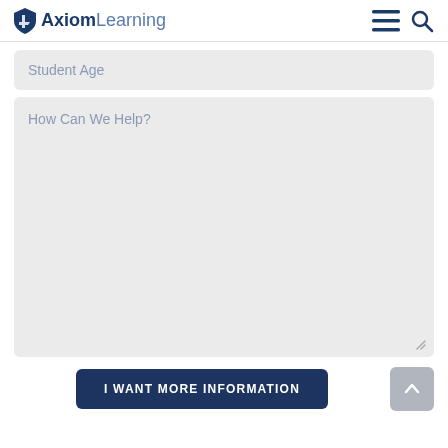AxiomLearning
Student Age
How Can We Help?
I WANT MORE INFORMATION